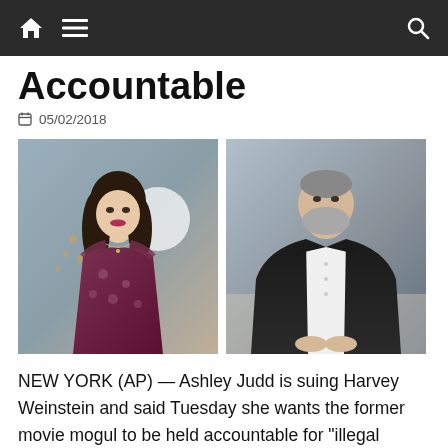nav bar with home, menu, and search icons
Accountable
05/02/2018
[Figure (photo): Two side-by-side photos: on the left, a woman with long dark hair wearing a floral dress; on the right, a heavyset man with a grey beard wearing a black suit jacket and white shirt.]
NEW YORK (AP) — Ashley Judd is suing Harvey Weinstein and said Tuesday she wants the former movie mogul to be held accountable for “illegal conduct” that caused her to lose money, status, prestige and power.